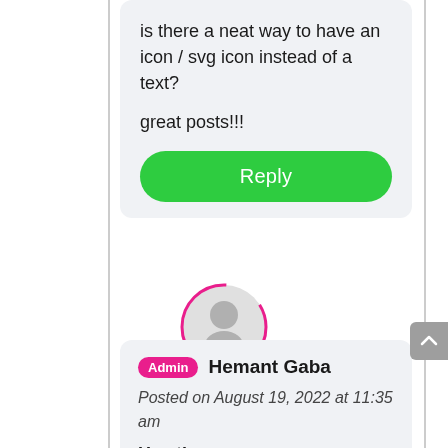is there a neat way to have an icon / svg icon instead of a text?

great posts!!!
Reply
[Figure (illustration): Circular user avatar icon with pink/magenta border. Gray silhouette of a person on light gray circular background.]
Admin  Hemant Gaba
Posted on August 19, 2022 at 11:35 am
Hey there,